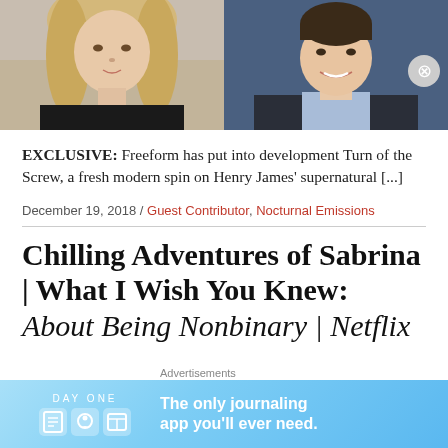[Figure (photo): Two side-by-side headshots: a blonde woman in a black top on the left, and a smiling man in a suit with a light blue shirt on the right.]
EXCLUSIVE: Freeform has put into development Turn of the Screw, a fresh modern spin on Henry James' supernatural [...]
December 19, 2018 / Guest Contributor, Nocturnal Emissions
Chilling Adventures of Sabrina | What I Wish You Knew: About Being Nonbinary | Netflix
Advertisements
[Figure (screenshot): Day One journaling app advertisement banner with text 'The only journaling app you'll ever need.']